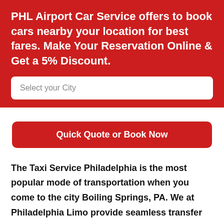PHL Airport Car Service offers to book cars nearby your location for best fares. Make Your Reservation Online & Get a 5% Discount.
Select your City
Quick Quote or Book Now
The Taxi Service Philadelphia is the most popular mode of transportation when you come to the city Boiling Springs, PA. We at Philadelphia Limo provide seamless transfer service with our extensive range of high-end luxury fleet starting from the sedan, SUVs, luxury vans, and limousines. With Philadelphia Airport Car Service for your service, we